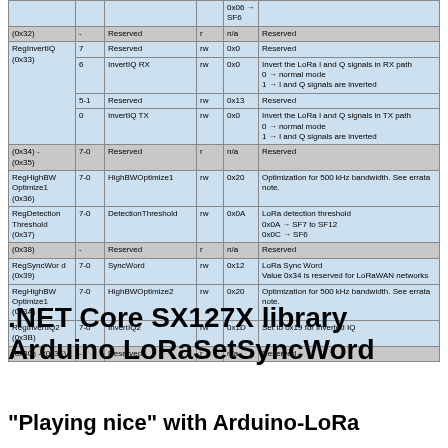| Register | Bits | Name | R/W | Default | Description |
| --- | --- | --- | --- | --- | --- |
|  |  |  |  | 0x06 → SF6 |  |
| (0x32) | - | Reserved | r | n/a | Reserved |
| RegInvertIQ (0x33) | 7 | Reserved | rw | 0x0 | Reserved |
|  | 6 | InvertIQ RX | rw | 0x0 | Invert the LoRa I and Q signals in RX path
0 → normal mode
1 → I and Q signals are inverted |
|  | 5-1 | Reserved | rw | 0x13 | Reserved |
|  | 0 | InvertIQ TX | rw | 0x0 | Invert the LoRa I and Q signals in TX path
0 → normal mode
1 → I and Q signals are inverted |
| (0x34) - (0x35) | 7-0 | Reserved | r | n/a | Reserved |
| RegHighBW Optimize1 (0x36) | 7-0 | HighBWOptimize1 | rw | 0x20 | Optimization for 500 kHz bandwidth. See errata note. |
| RegDetection Threshold (0x37) | 7-0 | DetectionThreshold | rw | 0x0A | LoRa detection threshold
0x0A → SF7 to SF12
0x0C → SF6 |
| (0x38) | - | Reserved | r | n/a | Reserved |
| RegSyncWord (0x39) | 7-0 | SyncWord | rw | 0x12 | LoRa Sync Word
Value 0x34 is reserved for LoRaWAN networks |
| RegHighBW Optimize1 (0x3A) | 7-0 | HighBWOptimize2 | rw | 0x20 | Optimization for 500 kHz bandwidth. See errata note. |
| RegInvertIQ2 (0x3B) | 7-0 | InvertIQ2 | rw | 0x1D | Set to 0x19 for inverted IQ |
| (0x3C) - (0x3F) | - | Reserved | r | n/a | Reserved |
.NET Core SX127X library Arduino LoRaSetSyncWord
“Playing nice” with Arduino-LoRa